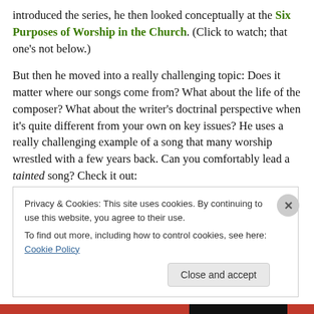introduced the series, he then looked conceptually at the Six Purposes of Worship in the Church. (Click to watch; that one's not below.)
But then he moved into a really challenging topic: Does it matter where our songs come from? What about the life of the composer? What about the writer's doctrinal perspective when it's quite different from your own on key issues? He uses a really challenging example of a song that many worship wrestled with a few years back. Can you comfortably lead a tainted song? Check it out:
Privacy & Cookies: This site uses cookies. By continuing to use this website, you agree to their use.
To find out more, including how to control cookies, see here: Cookie Policy